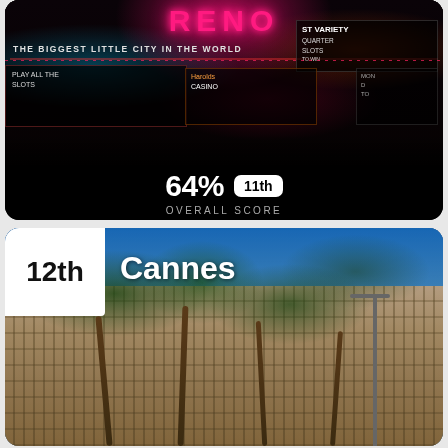[Figure (photo): Nighttime photo of Reno Nevada casino strip with neon signs reading 'THE BIGGEST LITTLE CITY IN THE WORLD' and other casino signs]
64% 11th OVERALL SCORE
[Figure (photo): Daytime photo of Cannes France showing a grand hotel building with palm trees and blue sky]